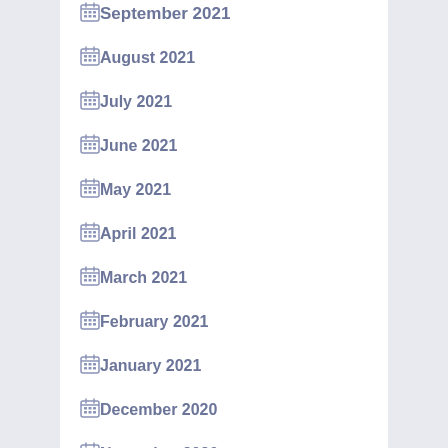September 2021
August 2021
July 2021
June 2021
May 2021
April 2021
March 2021
February 2021
January 2021
December 2020
November 2020
October 2020
April 2020